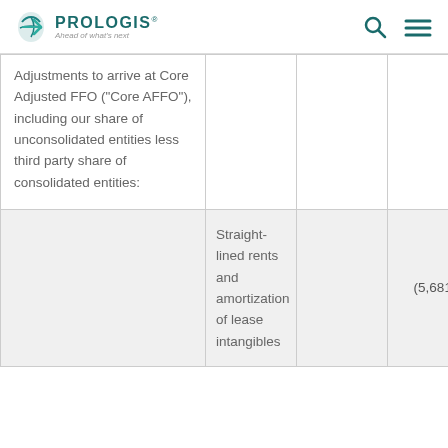PROLOGIS — Ahead of what's next
| Adjustments to arrive at Core Adjusted FFO ("Core AFFO"), including our share of unconsolidated entities less third party share of consolidated entities: |  |  |  |
|  | Straight-lined rents and amortization of lease intangibles |  | (5,681) |  |